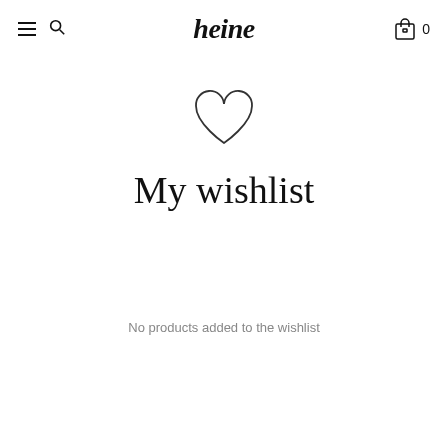heine
[Figure (illustration): Outline heart icon, thin stroke, no fill]
My wishlist
No products added to the wishlist